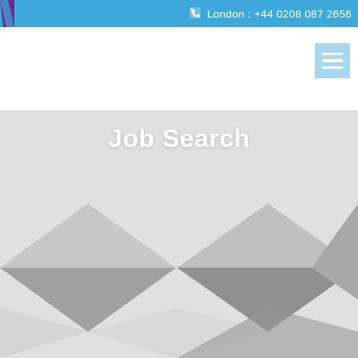London : +44 0208 087 2656
[Figure (illustration): Hamburger menu button with three horizontal white lines on a light blue background]
Job Search
[Figure (illustration): Geometric diamond/triangle pattern background in shades of gray and light gray forming overlapping diamond shapes]